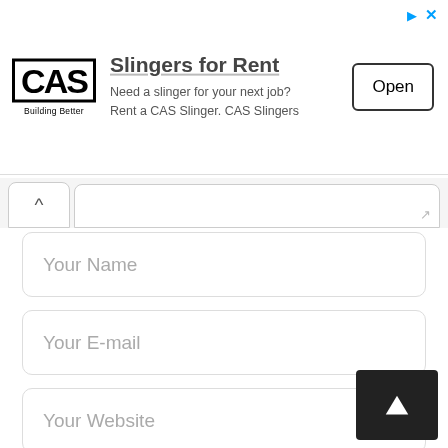[Figure (screenshot): CAS Building Better advertisement banner with logo, title 'Slingers for Rent', description text, and Open button]
Your Name
Your E-mail
Your Website
Save my name, email, and website in this browser for the next time I comment.
Post Comment